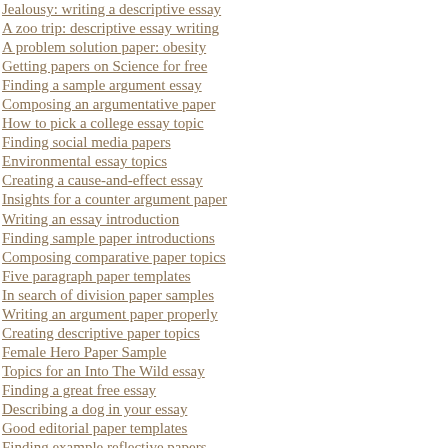Jealousy: writing a descriptive essay
A zoo trip: descriptive essay writing
A problem solution paper: obesity
Getting papers on Science for free
Finding a sample argument essay
Composing an argumentative paper
How to pick a college essay topic
Finding social media papers
Environmental essay topics
Creating a cause-and-effect essay
Insights for a counter argument paper
Writing an essay introduction
Finding sample paper introductions
Composing comparative paper topics
Five paragraph paper templates
In search of division paper samples
Writing an argument paper properly
Creating descriptive paper topics
Female Hero Paper Sample
Topics for an Into The Wild essay
Finding a great free essay
Describing a dog in your essay
Good editorial paper templates
Finding example reflective papers
Inventing memoir paper topics
Composing a reflective essay on nonverbal communication
Finding Culture essays for free
College expository paper topics
More on a reflective essay writing